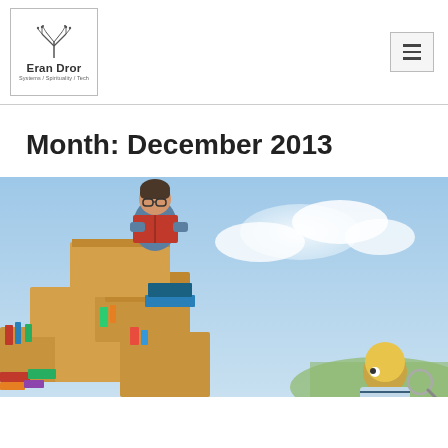Eran Dror — Systems / Spirituality / Tech
Month: December 2013
[Figure (illustration): Illustrated scene of a child with glasses sitting atop a large pile of cardboard boxes filled with books, reading a red book, with a blue sky and clouds in the background. Another child with blonde hair is partially visible in the lower right corner.]